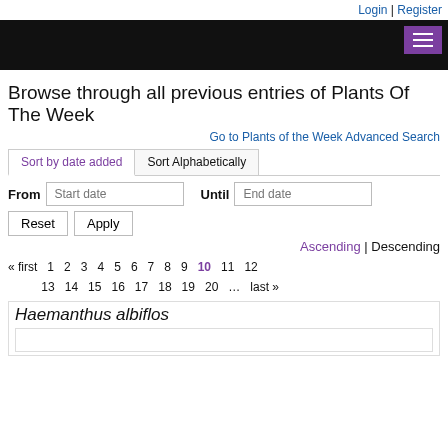Login | Register
[Figure (screenshot): Black navigation bar with purple hamburger menu button]
Browse through all previous entries of Plants Of The Week
Go to Plants of the Week Advanced Search
Sort by date added | Sort Alphabetically
From [Start date] Until [End date]
Reset   Apply
Ascending | Descending
« first  1  2  3  4  5  6  7  8  9  10  11  12  13  14  15  16  17  18  19  20  ...  last »
Haemanthus albiflos